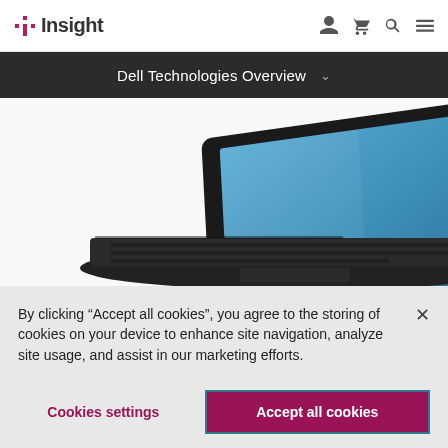Insight
Dell Technologies Overview
[Figure (photo): Dell laptop computer open at an angle showing blue screen, photographed from slightly above on white background]
By clicking “Accept all cookies”, you agree to the storing of cookies on your device to enhance site navigation, analyze site usage, and assist in our marketing efforts.
Cookies settings
Accept all cookies